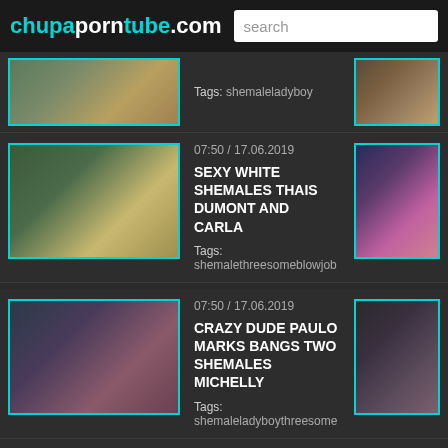chupaporntube.com — search
Tags: shemaleladyboy
[Figure (screenshot): Partial video thumbnail top left]
[Figure (screenshot): Partial video thumbnail top right]
07:50 / 17.06.2019
SEXY WHITE SHEMALES THAIS DUMONT AND CARLA
Tags: shemalethreesomeblowjob
[Figure (screenshot): Video thumbnail: shemale threesome scene]
[Figure (screenshot): Video thumbnail: side image]
07:50 / 17.06.2019
CRAZY DUDE PAULO MARKS BANGS TWO SHEMALES MICHELLY
Tags: shemaleladyboythreesome
[Figure (screenshot): Video thumbnail: Paulo Marks scene]
[Figure (screenshot): Video thumbnail: side image second row]